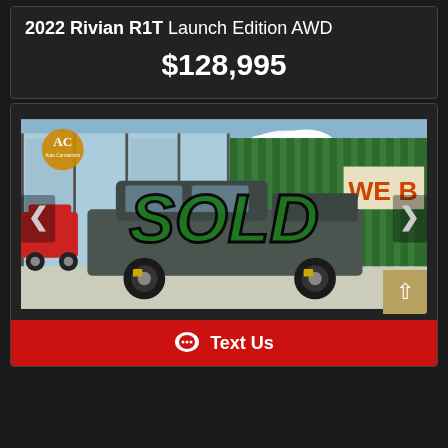2022 Rivian R1T Launch Edition AWD
$128,995
[Figure (photo): Photo of a 2022 Rivian R1T truck parked at the AC Auto Connection dealership. A large green 'SOLD' watermark is overlaid on the image. The dealership building with green cladding and a 'WE B' sign is visible in the background. Navigation arrows are shown on left and right sides of the image.]
Text Us